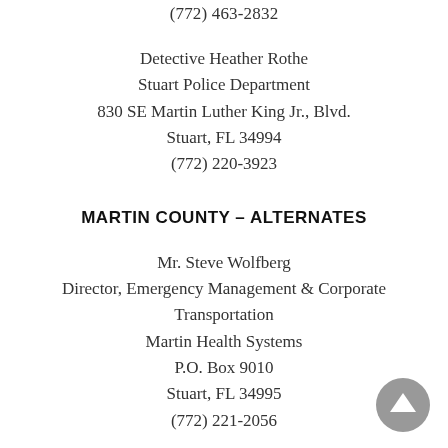(772) 463-2832
Detective Heather Rothe
Stuart Police Department
830 SE Martin Luther King Jr., Blvd.
Stuart, FL 34994
(772) 220-3923
MARTIN COUNTY – ALTERNATES
Mr. Steve Wolfberg
Director, Emergency Management & Corporate Transportation
Martin Health Systems
P.O. Box 9010
Stuart, FL 34995
(772) 221-2056